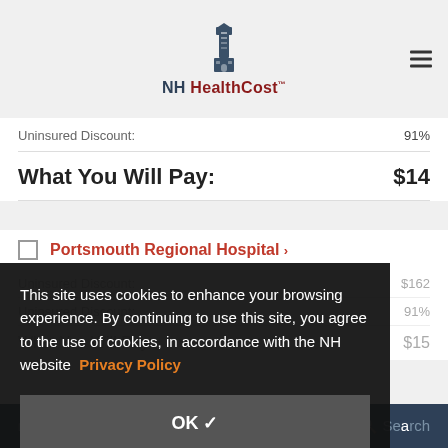[Figure (logo): NH HealthCost lighthouse logo with text]
| Label | Value |
| --- | --- |
| Uninsured Discount: | 91% |
| What You Will Pay: | $14 |
Portsmouth Regional Hospital >
| Label | Value |
| --- | --- |
| Uninsured Discount: | $162 |
| Uninsured Discount: | 91% |
| What You Will Pay: | $15 |
This site uses cookies to enhance your browsing experience. By continuing to use this site, you agree to the use of cookies, in accordance with the NH website Privacy Policy
OK ✓
COMPARE SELECTED    Search